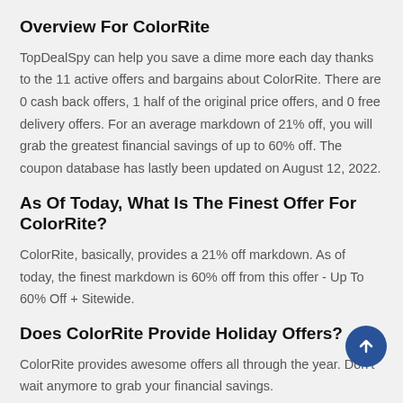Overview For ColorRite
TopDealSpy can help you save a dime more each day thanks to the 11 active offers and bargains about ColorRite. There are 0 cash back offers, 1 half of the original price offers, and 0 free delivery offers. For an average markdown of 21% off, you will grab the greatest financial savings of up to 60% off. The coupon database has lastly been updated on August 12, 2022.
As Of Today, What Is The Finest Offer For ColorRite?
ColorRite, basically, provides a 21% off markdown. As of today, the finest markdown is 60% off from this offer - Up To 60% Off + Sitewide.
Does ColorRite Provide Holiday Offers?
ColorRite provides awesome offers all through the year. Don't wait anymore to grab your financial savings.